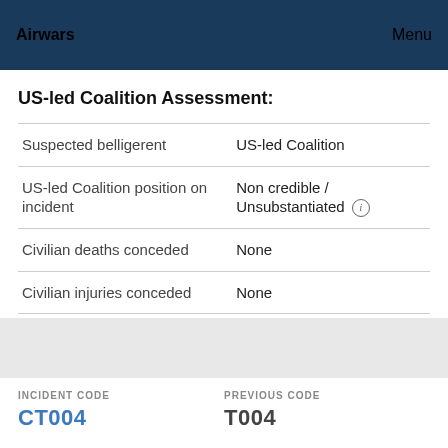Airwars | Menu
US-led Coalition Assessment:
|  |  |
| --- | --- |
| Suspected belligerent | US-led Coalition |
| US-led Coalition position on incident | Non credible / Unsubstantiated ⓘ |
| Civilian deaths conceded | None |
| Civilian injuries conceded | None |
INCIDENT CODE CT004 | PREVIOUS CODE T004